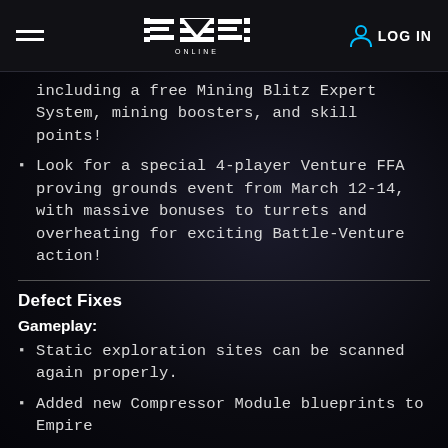EVE Online — LOG IN
including a free Mining Blitz Expert System, mining boosters, and skill points!
Look for a special 4-player Venture FFA proving grounds event from March 12-14, with massive bonuses to turrets and overheating for exciting Battle-Venture action!
Defect Fixes
Gameplay:
Static exploration sites can be scanned again properly.
Added new Compressor Module blueprints to Empire